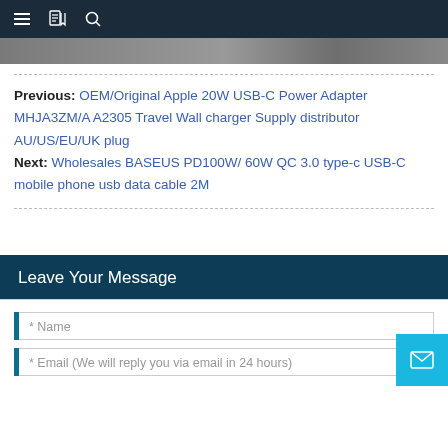Navigation bar with menu, bookmark, and search icons
Previous: OEM/Original Apple 20W USB-C Power Adapter MHJA3ZM/A A2305 Travel Wall charger Supply distributor AU/US/EU/UK plug
Next: Wholesales BASEUS PD100W/ 60W QC 3.0 type-c USB-C mobile phone usb data cable 2M
Leave Your Message
* Name
* Email (We will reply you via email in 24 hours)